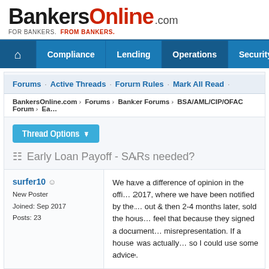[Figure (logo): BankersOnline.com logo with tagline FOR BANKERS. FROM BANKERS.]
FOR BANKERS. FROM BANKERS.
Compliance · Lending · Operations · Security
Forums · Active Threads · Forum Rules · Mark All Read
BankersOnline.com > Forums > Banker Forums > BSA/AML/CIP/OFAC Forum > Ea...
Thread Options
Early Loan Payoff - SARs needed?
surfer10
New Poster
Joined: Sep 2017
Posts: 23
We have a difference of opinion in the offi... 2017, where we have been notified by the... out & then 2-4 months later, sold the hous... feel that because they signed a document... misrepresentation. If a house was actually... so I could use some advice.